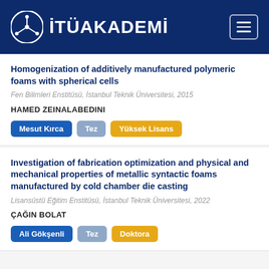[Figure (logo): İTÜAKADEMİ logo with network icon on dark blue header background]
Homogenization of additively manufactured polymeric foams with spherical cells
Fen Bilimleri Enstitüsü, İstanbul Teknik Üniversitesi, 2015
HAMED ZEINALABEDINI
Mesut Kırca
Tez
Yüksek Lisans
Investigation of fabrication optimization and physical and mechanical properties of metallic syntactic foams manufactured by cold chamber die casting
Lisansüstü Eğitim Enstitüsü, İstanbul Teknik Üniversitesi, 2022
ÇAĞIN BOLAT
Ali Gökşenli
Tez
Doktora